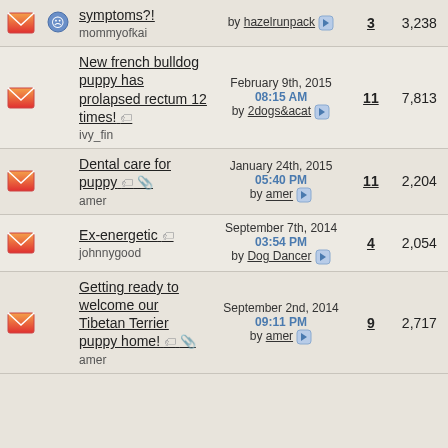|  |  | Topic | Last Post | Replies | Views |
| --- | --- | --- | --- | --- | --- |
| [envelope] | [smiley] | symptoms?!
mommyofkai | by hazelrunpack | 3 | 3,238 |
| [envelope] |  | New french bulldog puppy has prolapsed rectum 12 times!
ivy_fin | February 9th, 2015 08:15 AM
by 2dogs&acat | 11 | 7,813 |
| [envelope] |  | Dental care for puppy
amer | January 24th, 2015 05:40 PM
by amer | 11 | 2,204 |
| [envelope] |  | Ex-energetic
johnnygood | September 7th, 2014 03:54 PM
by Dog Dancer | 4 | 2,054 |
| [envelope] |  | Getting ready to welcome our Tibetan Terrier puppy home!
amen | September 2nd, 2014 09:11 PM
by amer | 9 | 2,717 |